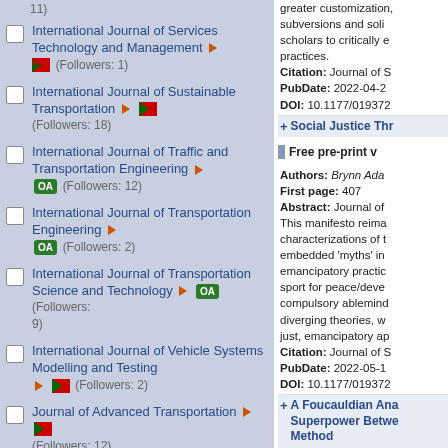11)
International Journal of Services Technology and Management ▶ 🏴 (Followers: 1)
International Journal of Sustainable Transportation ▶ 🏴 (Followers: 18)
International Journal of Traffic and Transportation Engineering ▶ OA (Followers: 12)
International Journal of Transportation Engineering OA (Followers: 2)
International Journal of Transportation Science and Technology ▶ OA (Followers: 9)
International Journal of Vehicle Systems Modelling and Testing ▶ 🏴 (Followers: 2)
Journal of Advanced Transportation ▶ 🏴 (Followers: 12)
Journal of Big Data Analytics in...
greater customization, subversions and soli... scholars to critically e... practices. Citation: Journal of S... PubDate: 2022-04-2... DOI: 10.1177/019372...
Social Justice Thr...
Free pre-print v...
Authors: Brynn Ada... First page: 407 Abstract: Journal of... This manifesto reima... characterizations of t... embedded 'myths' in... emancipatory practic... sport for peace/deve... compulsory ablemind... diverging theories, w... just, emancipatory ap... Citation: Journal of S... PubDate: 2022-05-1... DOI: 10.1177/019372...
A Foucauldian Ana... Superpower Betwe... Method